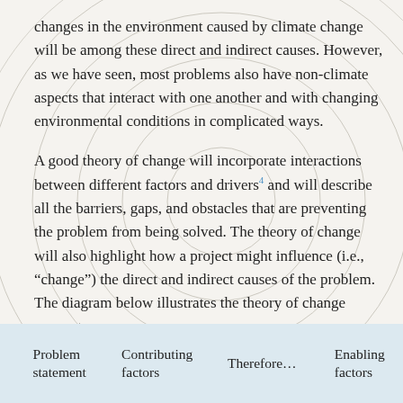changes in the environment caused by climate change will be among these direct and indirect causes. However, as we have seen, most problems also have non-climate aspects that interact with one another and with changing environmental conditions in complicated ways.
A good theory of change will incorporate interactions between different factors and drivers⁴ and will describe all the barriers, gaps, and obstacles that are preventing the problem from being solved. The theory of change will also highlight how a project might influence (i.e., “change”) the direct and indirect causes of the problem. The diagram below illustrates the theory of change concept.
[Figure (infographic): Bottom strip showing partial diagram with columns: Problem statement, Contributing factors, Therefore..., Enabling factors]